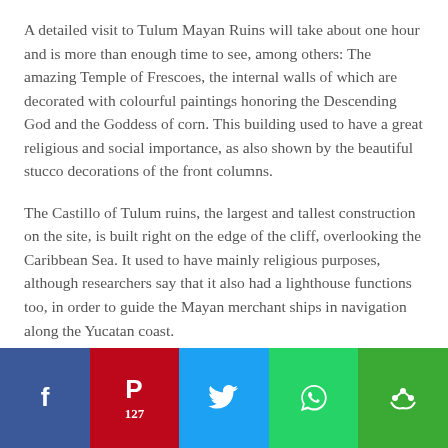A detailed visit to Tulum Mayan Ruins will take about one hour and is more than enough time to see, among others: The amazing Temple of Frescoes, the internal walls of which are decorated with colourful paintings honoring the Descending God and the Goddess of corn. This building used to have a great religious and social importance, as also shown by the beautiful stucco decorations of the front columns.
The Castillo of Tulum ruins, the largest and tallest construction on the site, is built right on the edge of the cliff, overlooking the Caribbean Sea. It used to have mainly religious purposes, although researchers say that it also had a lighthouse functions too, in order to guide the Mayan merchant ships in navigation along the Yucatan coast.
In order to preserve Tulum ruins, it is unfortunately not possible to climb up the stairs, nor to walk in front of it. The
[Figure (infographic): Social sharing bar with five buttons: Facebook (blue), Pinterest (red) with count 127, Twitter (light blue), WhatsApp (green), and a share/other button (darker green).]